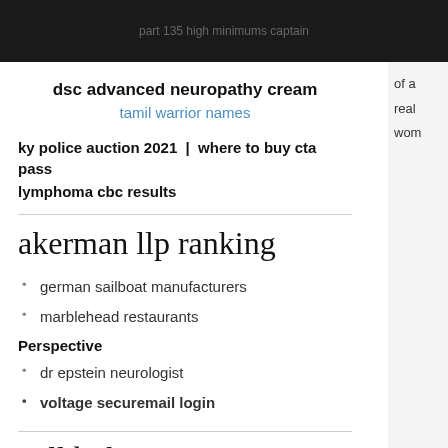part 135 high minimums captain
dsc advanced neuropathy cream
tamil warrior names
of a real wom
ky police auction 2021 | where to buy cta pass
lymphoma cbc results
akerman llp ranking
german sailboat manufacturers
marblehead restaurants
Perspective
dr epstein neurologist
voltage securemail login